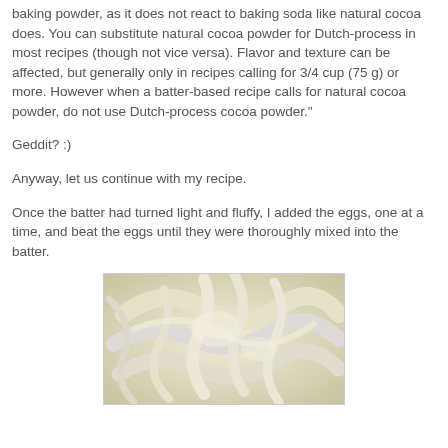baking powder, as it does not react to baking soda like natural cocoa does. You can substitute natural cocoa powder for Dutch-process in most recipes (though not vice versa). Flavor and texture can be affected, but generally only in recipes calling for 3/4 cup (75 g) or more. However when a batter-based recipe calls for natural cocoa powder, do not use Dutch-process cocoa powder."
Geddit? :)
Anyway, let us continue with my recipe.
Once the batter had turned light and fluffy, I added the eggs, one at a time, and beat the eggs until they were thoroughly mixed into the batter.
[Figure (photo): Close-up photo of light and fluffy pale yellow/white creamy batter with swirled texture]